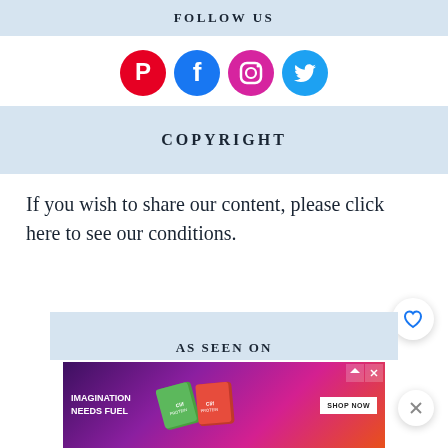FOLLOW US
[Figure (illustration): Four social media icons in circles: Pinterest (red), Facebook (blue), Instagram (pink/magenta), Twitter (light blue)]
COPYRIGHT
If you wish to share our content, please click here to see our conditions.
AS SEEN ON
[Figure (screenshot): Advertisement banner: purple/pink gradient background with 'IMAGINATION NEEDS FUEL' text, Clif Bar protein bar products, and 'SHOP NOW' button]